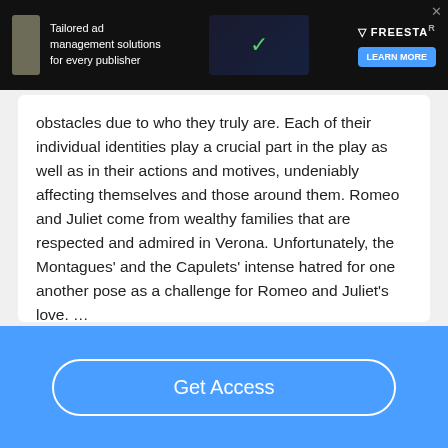[Figure (screenshot): Dark advertisement banner for Freestar ad management solutions with text 'Tailored ad management solutions for every publisher', green checkmark icon, Freestar logo, and Learn More button]
obstacles due to who they truly are. Each of their individual identities play a crucial part in the play as well as in their actions and motives, undeniably affecting themselves and those around them. Romeo and Juliet come from wealthy families that are respected and admired in Verona. Unfortunately, the Montagues' and the Capulets' intense hatred for one another pose as a challenge for Romeo and Juliet's love. …
Read More
Get Access